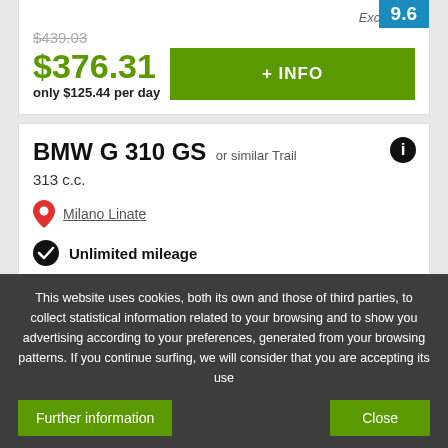9.6
Excellent!
$439.03
$376.31
only $125.44 per day
+ INFO
BMW G 310 GS or similar Trail
313 c.c.
Milano Linate
Unlimited mileage
Includes:
This website uses cookies, both its own and those of third parties, to collect statistical information related to your browsing and to show you advertising according to your preferences, generated from your browsing patterns. If you continue surfing, we will consider that you are accepting its use
Further information
Close